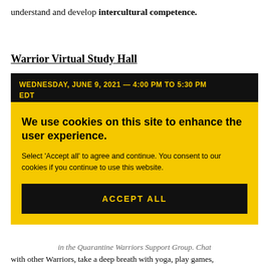understand and develop intercultural competence.
Warrior Virtual Study Hall
WEDNESDAY, JUNE 9, 2021 — 4:00 PM TO 5:30 PM EDT
We use cookies on this site to enhance the user experience.
Select 'Accept all' to agree and continue. You consent to our cookies if you continue to use this website.
ACCEPT ALL
in the Quarantine Warriors Support Group. Chat with other Warriors, take a deep breath with yoga, play games,